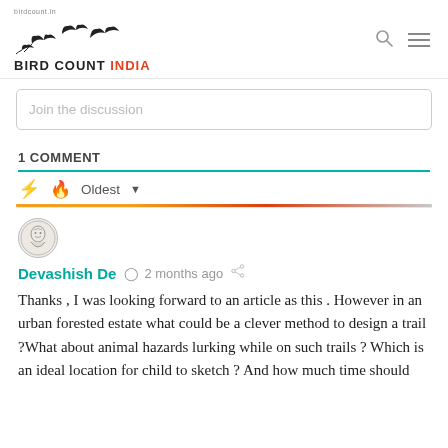BIRD COUNT INDIA
Join the discussion
1 COMMENT
Oldest
[Figure (illustration): User avatar - sketch illustration of a person]
Devashish De  ·  2 months ago
Thanks , I was looking forward to an article as this . However in an urban forested estate what could be a clever method to design a trail ?What about animal hazards lurking while on such trails ? Which is an ideal location for child to sketch ? And how much time should